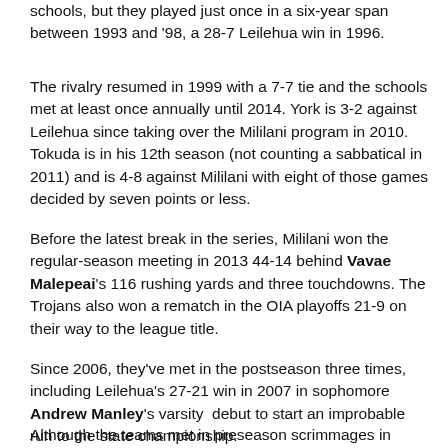schools, but they played just once in a six-year span between 1993 and '98, a 28-7 Leilehua win in 1996.
The rivalry resumed in 1999 with a 7-7 tie and the schools met at least once annually until 2014. York is 3-2 against Leilehua since taking over the Mililani program in 2010. Tokuda is in his 12th season (not counting a sabbatical in 2011) and is 4-8 against Mililani with eight of those games decided by seven points or less.
Before the latest break in the series, Mililani won the regular-season meeting in 2013 44-14 behind Vavae Malepeai's 116 rushing yards and three touchdowns. The Trojans also won a rematch in the OIA playoffs 21-9 on their way to the league title.
Since 2006, they've met in the postseason three times, including Leilehua's 27-21 win in 2007 in sophomore Andrew Manley's varsity debut to start an improbable run to the state championship.
Although the teams met in preseason scrimmages in